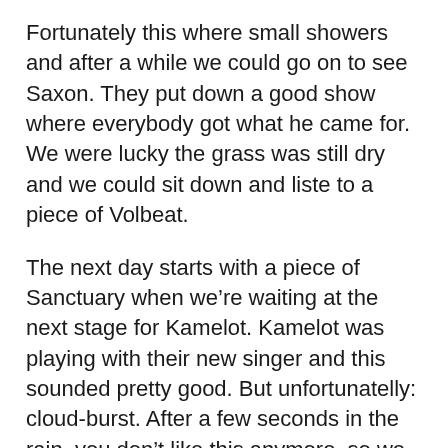Fortunately this where small showers and after a while we could go on to see Saxon. They put down a good show where everybody got what he came for. We were lucky the grass was still dry and we could sit down and liste to a piece of Volbeat.
The next day starts with a piece of Sanctuary when we're waiting at the next stage for Kamelot. Kamelot was playing with their new singer and this sounded pretty good. But unfortunatelly: cloud-burst. After a few seconds in the rain, you don't like this anymore, so we hide underneath a crowdsurger... This is too much we go back to our tent to dry our socks, when we walk back we noticed another disappointment Kamelot played ‘March of Mephisto’ without Shagrath, and this while Dimmu Borgir was playing the same evening.
After this Opeth, a band with humor. The singer was happy with the rain because it added something to their